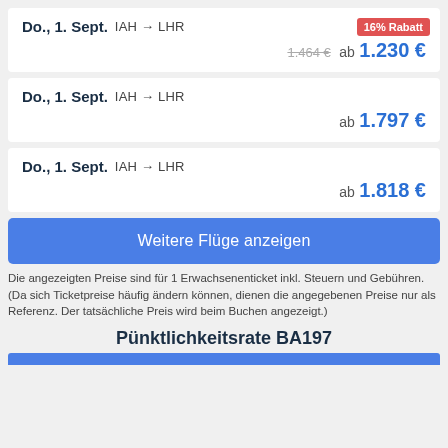Do., 1. Sept. IAH → LHR | 16% Rabatt | 1.464 € ab 1.230 €
Do., 1. Sept. IAH → LHR | ab 1.797 €
Do., 1. Sept. IAH → LHR | ab 1.818 €
Weitere Flüge anzeigen
Die angezeigten Preise sind für 1 Erwachsenenticket inkl. Steuern und Gebühren. (Da sich Ticketpreise häufig ändern können, dienen die angegebenen Preise nur als Referenz. Der tatsächliche Preis wird beim Buchen angezeigt.)
Pünktlichkeitsrate BA197